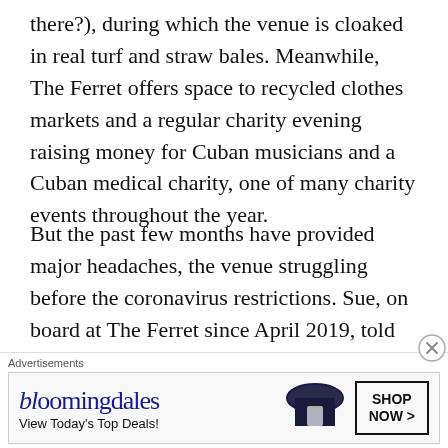there?), during which the venue is cloaked in real turf and straw bales. Meanwhile, The Ferret offers space to recycled clothes markets and a regular charity evening raising money for Cuban musicians and a Cuban medical charity, one of many charity events throughout the year.
But the past few months have provided major headaches, the venue struggling before the coronavirus restrictions. Sue, on board at The Ferret since April 2019, told me that enthusiasm for live shows had ‘fallen off somewhat since Danny moved on, petering down really to just local gigs, the venue on the verge of going bankrupt’. That was something she was keen to address, reinvestment and
Advertisements
[Figure (other): Bloomingdales advertisement banner showing logo, 'View Today's Top Deals!' text, a woman in a large hat, and a 'SHOP NOW >' call-to-action button]